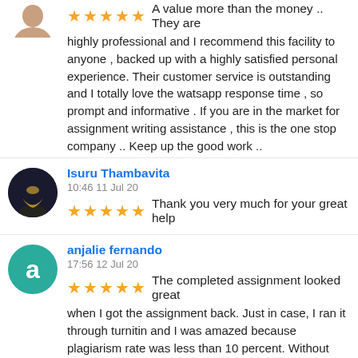A value more than the money .. They are highly professional and I recommend this facility to anyone , backed up with a highly satisfied personal experience. Their customer service is outstanding and I totally love the watsapp response time , so prompt and informative . If you are in the market for assignment writing assistance , this is the one stop company .. Keep up the good work ..
Isuru Thambavita
10:46 11 Jul 20
Thank you very much for your great help
anjalie fernando
17:56 12 Jul 20
The completed assignment looked great when I got the assignment back. Just in case, I ran it through turnitin and I was amazed because plagiarism rate was less than 10 percent. Without hesitation I can say this is the best assignment writing service in Sri Lanka
Harshana Amarasinghe
17:55 01 Aug 20
Friendly Service, 100% recommend